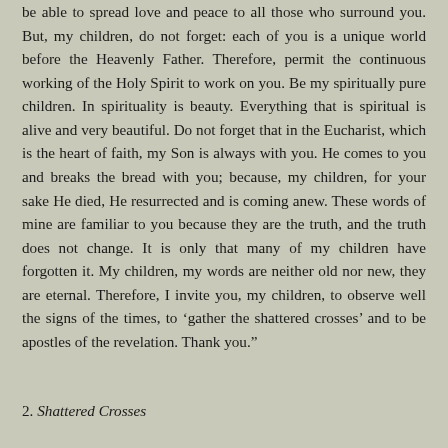be able to spread love and peace to all those who surround you. But, my children, do not forget: each of you is a unique world before the Heavenly Father. Therefore, permit the continuous working of the Holy Spirit to work on you. Be my spiritually pure children. In spirituality is beauty. Everything that is spiritual is alive and very beautiful. Do not forget that in the Eucharist, which is the heart of faith, my Son is always with you. He comes to you and breaks the bread with you; because, my children, for your sake He died, He resurrected and is coming anew. These words of mine are familiar to you because they are the truth, and the truth does not change. It is only that many of my children have forgotten it. My children, my words are neither old nor new, they are eternal. Therefore, I invite you, my children, to observe well the signs of the times, to ‘gather the shattered crosses’ and to be apostles of the revelation. Thank you.”
2. Shattered Crosses